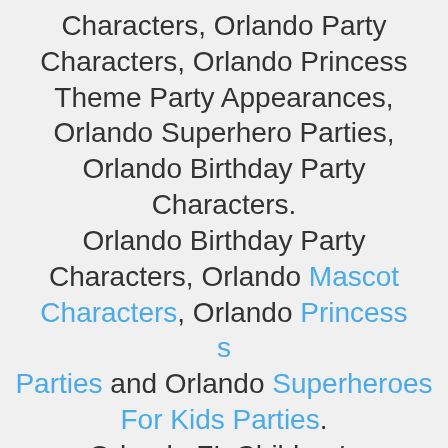Characters, Orlando Party Characters, Orlando Princess Theme Party Appearances, Orlando Superhero Parties, Orlando Birthday Party Characters. Orlando Birthday Party Characters, Orlando Mascot Characters, Orlando Princess Parties and Orlando Superheroes For Kids Parties. Orlando FL Children's Entertainment For Kids' Parties Sent To